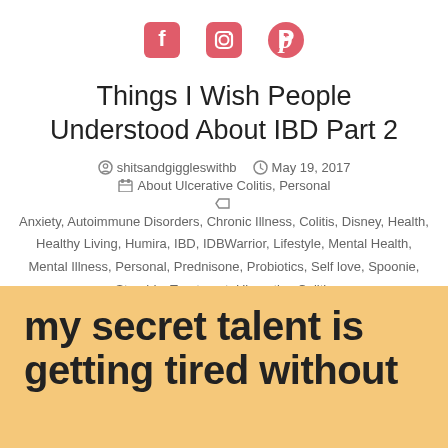[Figure (other): Social media icons: Facebook, Instagram, Pinterest in coral/pink color]
Things I Wish People Understood About IBD Part 2
shitsandgiggleswithb   May 19, 2017
About Ulcerative Colitis, Personal
Anxiety, Autoimmune Disorders, Chronic Illness, Colitis, Disney, Health, Healthy Living, Humira, IBD, IDBWarrior, Lifestyle, Mental Health, Mental Illness, Personal, Prednisone, Probiotics, Self love, Spoonie, Steroids, Treatment, Ulcerative Colitis
[Figure (illustration): Orange/peach background with bold black text reading 'my secret talent is getting tired without']